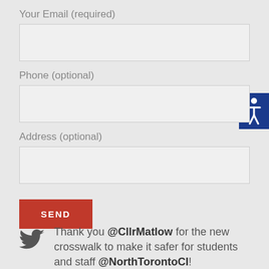Your Email (required)
Phone (optional)
[Figure (other): Accessibility icon - white person symbol on dark blue background]
Address (optional)
SEND
Thank you @CllrMatlow for the new crosswalk to make it safer for students and staff @NorthTorontoCI!